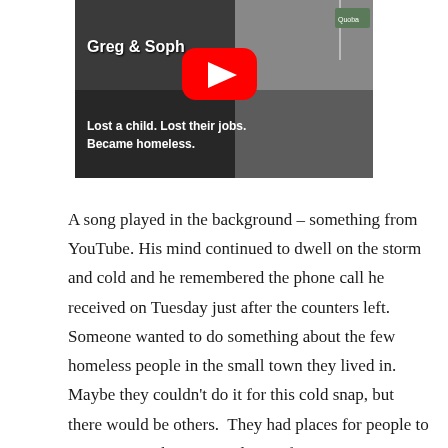[Figure (screenshot): YouTube video thumbnail showing two people outdoors in cold weather, one wearing a black hoodie with gold zipper and one wearing a white knit cap. Text overlay reads 'Greg & Soph' and 'Lost a child. Lost their jobs. Became homeless.' A red YouTube play button is visible in the center.]
A song played in the background – something from YouTube. His mind continued to dwell on the storm and cold and he remembered the phone call he received on Tuesday just after the counters left.  Someone wanted to do something about the few homeless people in the small town they lived in.  Maybe they couldn't do it for this cold snap, but there would be others.  They had places for people to stay warm.  There were plenty of